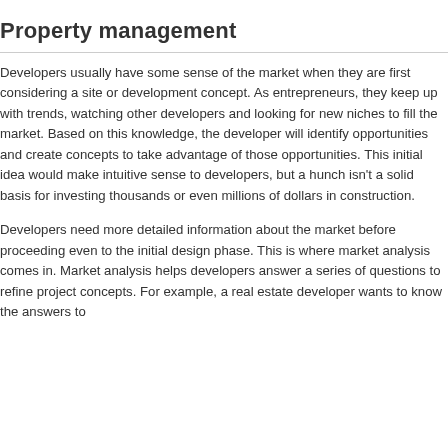Property management
Developers usually have some sense of the market when they are first considering a site or development concept. As entrepreneurs, they keep up with trends, watching other developers and looking for new niches to fill the market. Based on this knowledge, the developer will identify opportunities and create concepts to take advantage of those opportunities. This initial idea would make intuitive sense to developers, but a hunch isn't a solid basis for investing thousands or even millions of dollars in construction.
Developers need more detailed information about the market before proceeding even to the initial design phase. This is where market analysis comes in. Market analysis helps developers answer a series of questions to refine project concepts. For example, a real estate developer wants to know the answers to